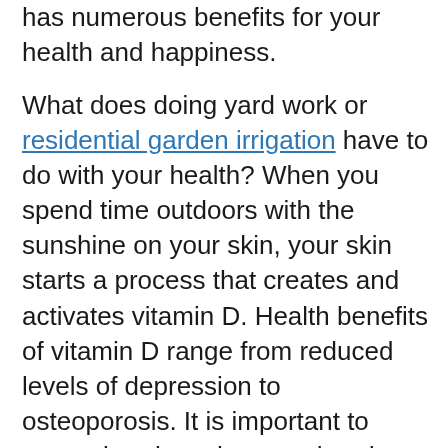has numerous benefits for your health and happiness.
What does doing yard work or residential garden irrigation have to do with your health? When you spend time outdoors with the sunshine on your skin, your skin starts a process that creates and activates vitamin D. Health benefits of vitamin D range from reduced levels of depression to osteoporosis. It is important to remember that when you head outside to do some gardening or mow your lawn, you should always wear sunscreen and other protective gear like sunglasses with UVA/UVB protection and hats.